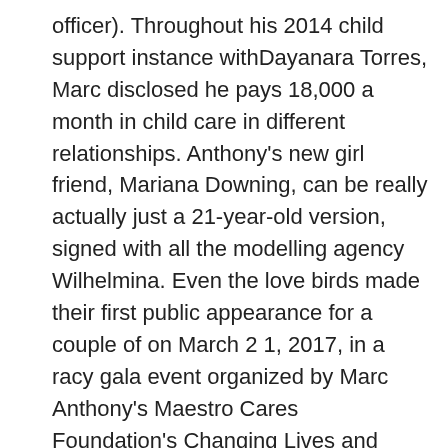officer). Throughout his 2014 child support instance withDayanara Torres, Marc disclosed he pays 18,000 a month in child care in different relationships. Anthony's new girl friend, Mariana Downing, can be really actually just a 21-year-old version, signed with all the modelling agency Wilhelmina. Even the love birds made their first public appearance for a couple of on March 2 1, 2017, in a racy gala event organized by Marc Anthony's Maestro Cares Foundation's Changing Lives and Construction Dreamsat that the Cipriani Wall Street restaurant, even in nyc. The honored Latin singerseemed to have waited to get the big event to present the world that the young woman who uttered his heart.Prior with their public debut at the red rug, Downing and Anthony were thought to have already been